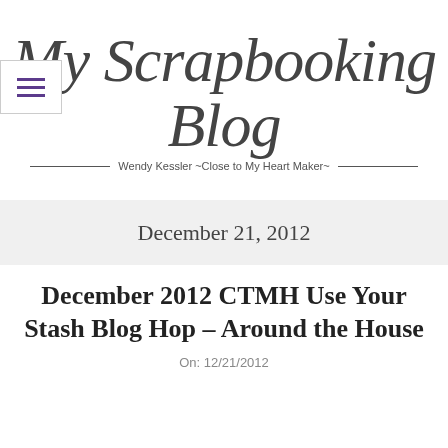My Scrapbooking Blog
Wendy Kessler ~Close to My Heart Maker~
December 21, 2012
December 2012 CTMH Use Your Stash Blog Hop – Around the House
On:  12/21/2012